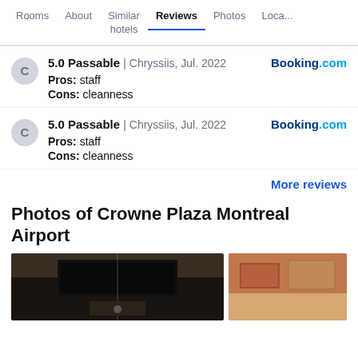Rooms | About | Similar hotels | Reviews | Photos | Loca...
5.0 Passable | Chryssiis, Jul. 2022 — Booking.com
Pros: staff
Cons: cleanness
5.0 Passable | Chryssiis, Jul. 2022 — Booking.com
Pros: staff
Cons: cleanness
More reviews
Photos of Crowne Plaza Montreal Airport
[Figure (photo): Two hotel room photos side by side: left shows a dark hotel room with a TV, right shows a room with reddish accent wall and artwork.]